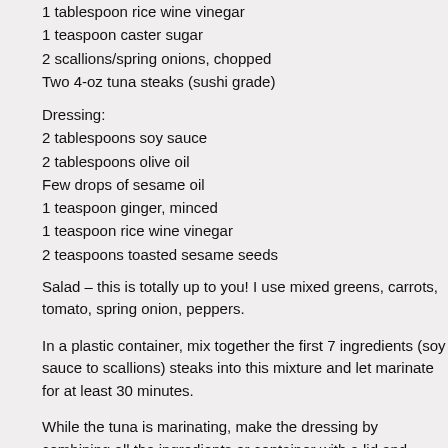1 tablespoon rice wine vinegar
1 teaspoon caster sugar
2 scallions/spring onions, chopped
Two 4-oz tuna steaks (sushi grade)
Dressing:
2 tablespoons soy sauce
2 tablespoons olive oil
Few drops of sesame oil
1 teaspoon ginger, minced
1 teaspoon rice wine vinegar
2 teaspoons toasted sesame seeds
Salad – this is totally up to you! I use mixed greens, carrots, tomato, spring onion, peppers.
In a plastic container, mix together the first 7 ingredients (soy sauce to scallions) steaks into this mixture and let marinate for at least 30 minutes.
While the tuna is marinating, make the dressing by combining all the ingredients or container with a lid and shake until combined.
To cook the tuna: Heat 1 tablespoon of oil in a sauté pan over high heat until very smoking. Place the tuna steaks in the pan and let cook for 2 minutes on one side the steaks around, just let it sear for 2 minutes!). Turn over and cook for 1 minute side. Remove from heat, let rest for 5 minutes and then slice. Place the tuna slic